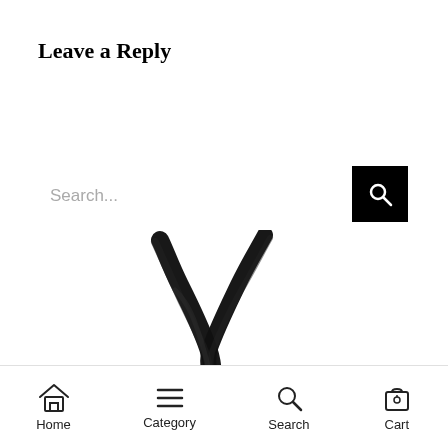Leave a Reply
[Figure (screenshot): Search bar with placeholder text 'Search...' and a black search button with magnifying glass icon on the right]
[Figure (illustration): A bold black brushstroke X or V shape mark, resembling a handwritten check or cross mark in thick ink]
Home  Category  Search  Cart